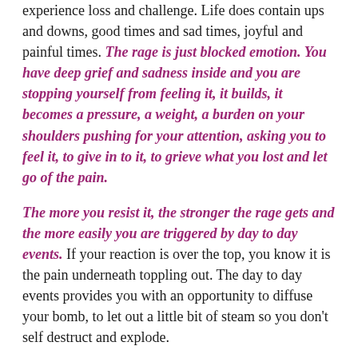experience loss and challenge. Life does contain ups and downs, good times and sad times, joyful and painful times. The rage is just blocked emotion. You have deep grief and sadness inside and you are stopping yourself from feeling it, it builds, it becomes a pressure, a weight, a burden on your shoulders pushing for your attention, asking you to feel it, to give in to it, to grieve what you lost and let go of the pain.
The more you resist it, the stronger the rage gets and the more easily you are triggered by day to day events. If your reaction is over the top, you know it is the pain underneath toppling out. The day to day events provides you with an opportunity to diffuse your bomb, to let out a little bit of steam so you don't self destruct and explode.
When rage is felt at these extremes, it is dangerous and